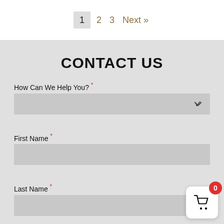1  2  3  Next »
CONTACT US
How Can We Help You? *
First Name *
Last Name *
Email *